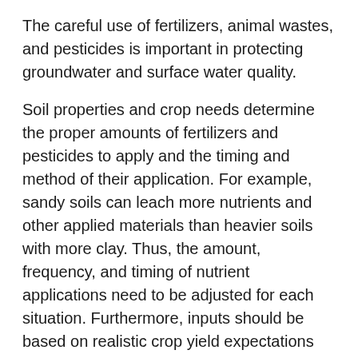The careful use of fertilizers, animal wastes, and pesticides is important in protecting groundwater and surface water quality.
Soil properties and crop needs determine the proper amounts of fertilizers and pesticides to apply and the timing and method of their application. For example, sandy soils can leach more nutrients and other applied materials than heavier soils with more clay. Thus, the amount, frequency, and timing of nutrient applications need to be adjusted for each situation. Furthermore, inputs should be based on realistic crop yield expectations that vary with soil properties. Adopting best management practices helps avoid excessive levels of elements such as nitrogen and phosphorus that can become harmful when lost to the environment.
Contamination from home waste disposal systems can be prevented. A professional sanitarian should carefully examine home sites to ensure that the soil characteristics